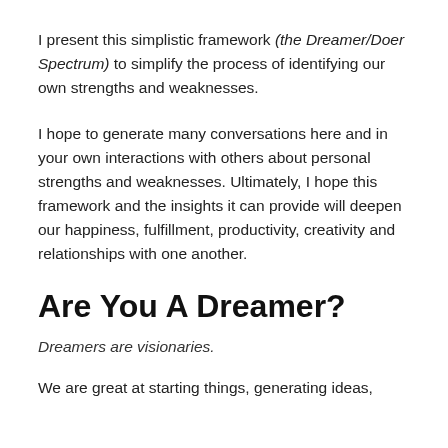I present this simplistic framework (the Dreamer/Doer Spectrum) to simplify the process of identifying our own strengths and weaknesses.
I hope to generate many conversations here and in your own interactions with others about personal strengths and weaknesses. Ultimately, I hope this framework and the insights it can provide will deepen our happiness, fulfillment, productivity, creativity and relationships with one another.
Are You A Dreamer?
Dreamers are visionaries.
We are great at starting things, generating ideas,